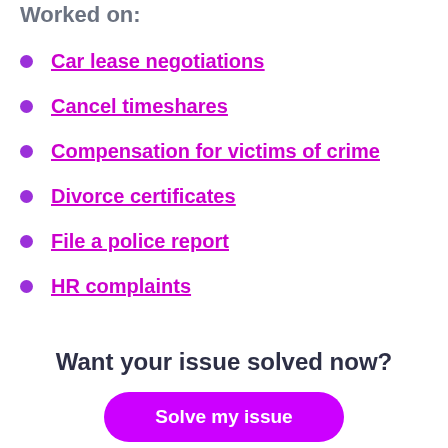Worked on:
Car lease negotiations
Cancel timeshares
Compensation for victims of crime
Divorce certificates
File a police report
HR complaints
Want your issue solved now?
Solve my issue